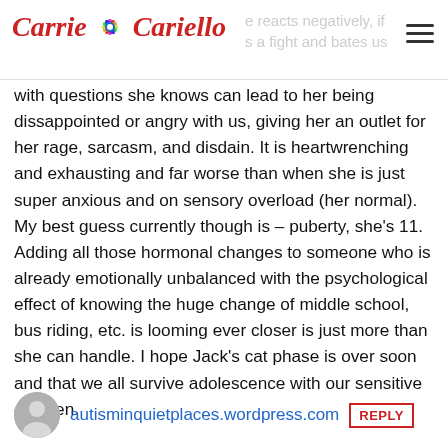Carrie Cariello — e reacts negatively, if s a fight and bates us
with questions she knows can lead to her being dissappointed or angry with us, giving her an outlet for her rage, sarcasm, and disdain. It is heartwrenching and exhausting and far worse than when she is just super anxious and on sensory overload (her normal). My best guess currently though is – puberty, she's 11. Adding all those hormonal changes to someone who is already emotionally unbalanced with the psychological effect of knowing the huge change of middle school, bus riding, etc. is looming ever closer is just more than she can handle. I hope Jack's cat phase is over soon and that we all survive adolescence with our sensitive children.
autisminquietplaces.wordpress.com
REPLY